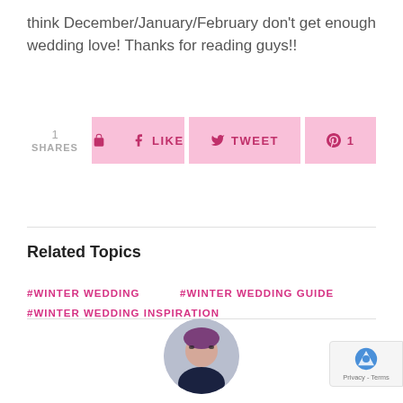think December/January/February don't get enough wedding love! Thanks for reading guys!!
[Figure (infographic): Social sharing bar with 1 share count, Facebook Like button, Twitter Tweet button, and Pinterest button with count 1]
Related Topics
#WINTER WEDDING
#WINTER WEDDING GUIDE
#WINTER WEDDING INSPIRATION
[Figure (photo): Circular profile photo of a woman with purple-tinted hair and glasses, laughing, wearing a dark floral top]
[Figure (other): reCAPTCHA privacy badge in bottom right corner with logo and Privacy - Terms text]